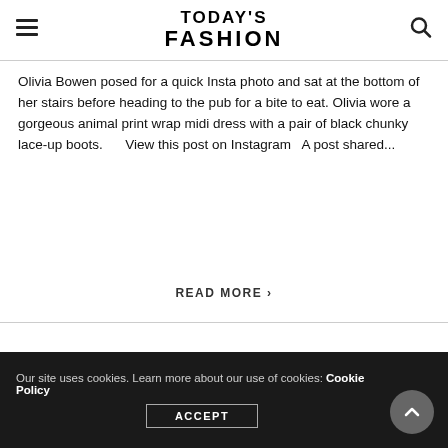TODAY'S FASHION
Olivia Bowen posed for a quick Insta photo and sat at the bottom of her stairs before heading to the pub for a bite to eat. Olivia wore a gorgeous animal print wrap midi dress with a pair of black chunky lace-up boots.      View this post on Instagram   A post shared...
READ MORE ›
GET THE LOOK   OLIVIA BOWEN
Our site uses cookies. Learn more about our use of cookies: Cookie Policy
ACCEPT